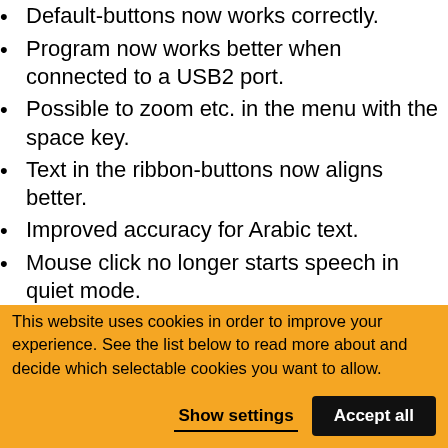Default-buttons now works correctly.
Program now works better when connected to a USB2 port.
Possible to zoom etc. in the menu with the space key.
Text in the ribbon-buttons now aligns better.
Improved accuracy for Arabic text.
Mouse click no longer starts speech in quiet mode.
The hotspot of the mouse cursor is changed from (5,5) to (0,0).
SAPI voices now works correctly.
Better coloring in the OCR image modes.
This website uses cookies in order to improve your experience. See the list below to read more about and decide which selectable cookies you want to allow.